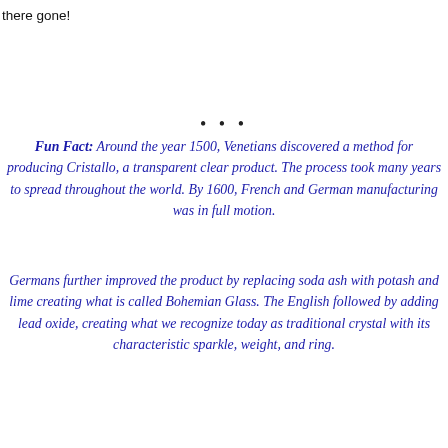there gone!
• • •
Fun Fact: Around the year 1500, Venetians discovered a method for producing Cristallo, a transparent clear product. The process took many years to spread throughout the world. By 1600, French and German manufacturing was in full motion.
Germans further improved the product by replacing soda ash with potash and lime creating what is called Bohemian Glass. The English followed by adding lead oxide, creating what we recognize today as traditional crystal with its characteristic sparkle, weight, and ring.